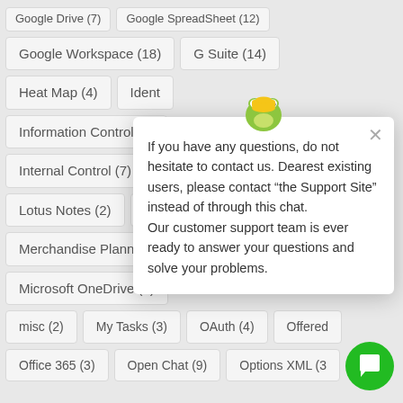Google Drive (7)
Google SpreadSheet (12)
Google Workspace (18)
G Suite (14)
Heat Map (4)
Ident…
Information Control (6)
Internal Control (7)
Lotus Notes (2)
Mac…
Merchandise Planning (…
Microsoft OneDrive (1)
misc (2)
My Tasks (3)
OAuth (4)
Offered…
Office 365 (3)
Open Chat (9)
Options XML (3)
If you have any questions, do not hesitate to contact us. Dearest existing users, please contact "the Support Site" instead of through this chat.
Our customer support team is ever ready to answer your questions and solve your problems.